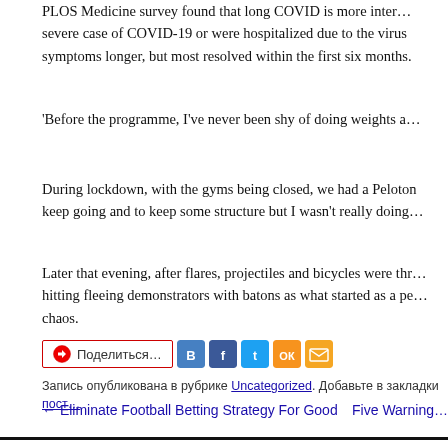PLOS Medicine survey found that long COVID is more likely in people who had a severe case of COVID-19 or were hospitalized due to the virus. They may have symptoms longer, but most resolved within the first six months.
'Before the programme, I've never been shy of doing weights a…
During lockdown, with the gyms being closed, we had a Peloton… keep going and to keep some structure but I wasn't really doing…
Later that evening, after flares, projectiles and bicycles were thr… hitting fleeing demonstrators with batons as what started as a pe… chaos.
[Figure (other): Social share buttons: Поделиться... button with Rambler icon, and social media icons for VK, Facebook, Twitter, OK, and email]
Запись опубликована в рубрике Uncategorized. Добавьте в закладки пост…
← Eliminate Football Betting Strategy For Good    Five Warning…